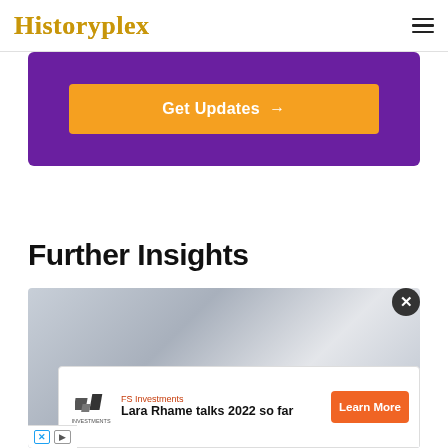Historyplex
[Figure (screenshot): Purple banner with orange 'Get Updates →' button]
Further Insights
[Figure (photo): Article thumbnail image with gray/blue tones, partially visible with an advertisement overlay for FS Investments: 'Lara Rhame talks 2022 so far' with Learn More button]